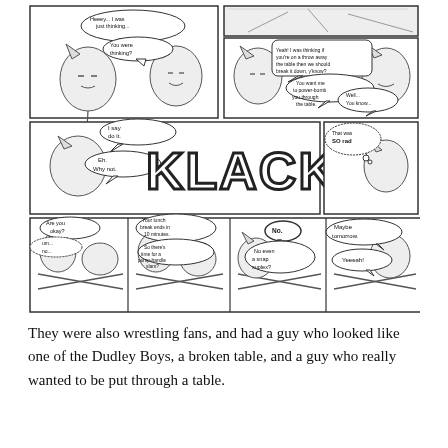[Figure (illustration): A multi-panel hand-drawn comic strip. Top row: two panels showing two cartoon characters (a male and female with cat ears). Panel 1 dialogue: 'Heeey... I was just thinking...' / 'You were thinking?' Panel 2: 'Yeah! I was thinking if you're on a throw away the table then we should break it down, y'know?' / 'You want me to power-bomb you through the table.' / 'Well... You know...' Middle row: one wide panel with the female character saying 'I say do it.' and 'Eh. Why not.' with large 'KLACK!' sound effect text, and a small panel with the male character thinking 'That was SO rad'. Bottom row: four panels showing the aftermath with characters on a broken table: 'Are you okay?' / 'um... no...' / 'Your lunch break ends in 10 minutes.' / 'So there's time for a pump-handle slam?' / 'No.' / 'No even a snap suplex?' / 'Maybe tomorrow.' / 'Yeeeah!']
They were also wrestling fans, and had a guy who looked like one of the Dudley Boys, a broken table, and a guy who really wanted to be put through a table.